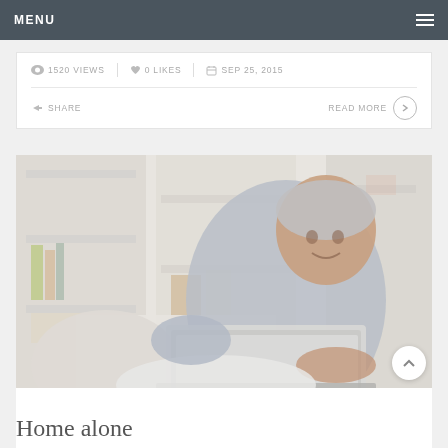MENU
1520 VIEWS  |  0 LIKES  |  SEP 25, 2015
SHARE  READ MORE
[Figure (photo): Elderly woman smiling and using a laptop computer while seated on a couch, with white bookshelves in the background]
Home alone